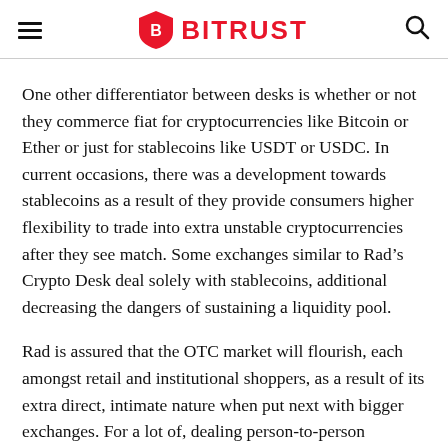BITRUST
One other differentiator between desks is whether or not they commerce fiat for cryptocurrencies like Bitcoin or Ether or just for stablecoins like USDT or USDC. In current occasions, there was a development towards stablecoins as a result of they provide consumers higher flexibility to trade into extra unstable cryptocurrencies after they see match. Some exchanges similar to Rad’s Crypto Desk deal solely with stablecoins, additional decreasing the dangers of sustaining a liquidity pool.
Rad is assured that the OTC market will flourish, each amongst retail and institutional shoppers, as a result of its extra direct, intimate nature when put next with bigger exchanges. For a lot of, dealing person-to-person